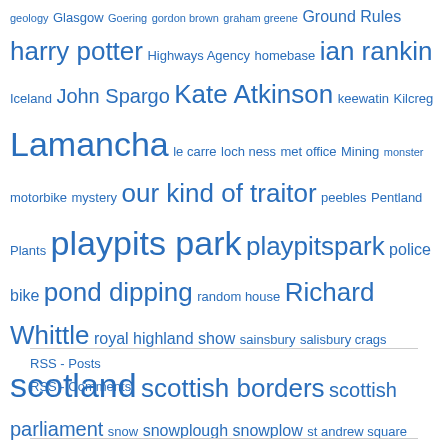geology Glasgow Goering gordon brown graham greene Ground Rules harry potter Highways Agency homebase ian rankin Iceland John Spargo Kate Atkinson keewatin Kilcreg Lamancha le carre loch ness met office Mining monster motorbike mystery our kind of traitor peebles Pentland Plants playpits park playpitspark police bike pond dipping random house Richard Whittle royal highland show sainsbury salisbury crags scotland scottish borders scottish parliament snow snowplough snowplow st andrew square the fyo The Man Who Played Trains tram works triumph tyo u-boat waterstones west linton whitmuir whitmuir organics
RSS - Posts
RSS - Comments